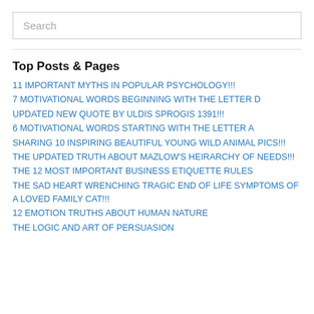Search
Top Posts & Pages
11 IMPORTANT MYTHS IN POPULAR PSYCHOLOGY!!!
7 MOTIVATIONAL WORDS BEGINNING WITH THE LETTER D
UPDATED NEW QUOTE BY ULDIS SPROGIS 1391!!!
6 MOTIVATIONAL WORDS STARTING WITH THE LETTER A
SHARING 10 INSPIRING BEAUTIFUL YOUNG WILD ANIMAL PICS!!!
THE UPDATED TRUTH ABOUT MAZLOW'S HEIRARCHY OF NEEDS!!!
THE 12 MOST IMPORTANT BUSINESS ETIQUETTE RULES
THE SAD HEART WRENCHING TRAGIC END OF LIFE SYMPTOMS OF A LOVED FAMILY CAT!!!
12 EMOTION TRUTHS ABOUT HUMAN NATURE
THE LOGIC AND ART OF PERSUASION